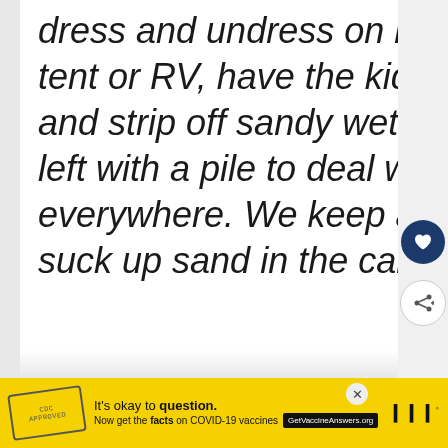dress and undress on it. Before getting in the car, tent or RV, have the kids each stand on the blanket and strip off sandy wet shoes and clothes. You are left with a pile to deal with but at least it's not everywhere. We keep a hand vacuum dust devil to suck up sand in the car, t and RV. Carry a bucket of
[Figure (screenshot): Website UI elements: heart/favorite button (dark blue circle with heart icon), share button (circle with share icon), 'What's Next' recommendation box showing a beach image thumbnail with text 'Ultimate Family Beac...']
[Figure (screenshot): Advertisement banner: yellow background, CDC-style stamp graphic, text 'It's okay to question. Now get the facts on COVID-19 vaccines GetVaccineAnswers.org', close X button, and Marketplace logo]